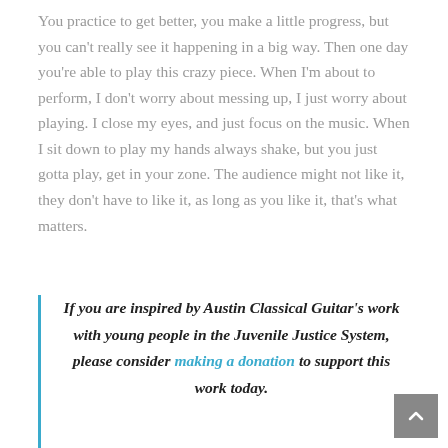You practice to get better, you make a little progress, but you can't really see it happening in a big way. Then one day you're able to play this crazy piece. When I'm about to perform, I don't worry about messing up, I just worry about playing. I close my eyes, and just focus on the music. When I sit down to play my hands always shake, but you just gotta play, get in your zone. The audience might not like it, they don't have to like it, as long as you like it, that's what matters.
If you are inspired by Austin Classical Guitar's work with young people in the Juvenile Justice System, please consider making a donation to support this work today.